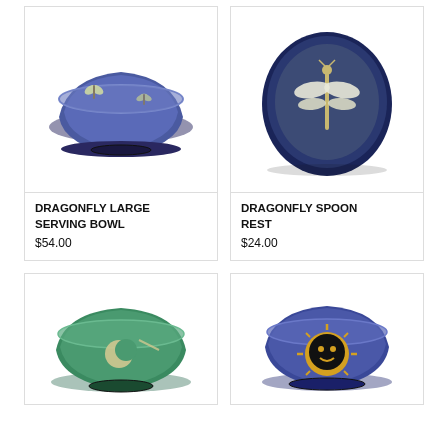[Figure (photo): Blue ceramic dragonfly large serving bowl with carved butterfly/dragonfly motifs]
DRAGONFLY LARGE SERVING BOWL
$54.00
[Figure (photo): Blue ceramic dragonfly spoon rest with raised dragonfly design on teardrop-shaped dish]
DRAGONFLY SPOON REST
$24.00
[Figure (photo): Teal/green ceramic bowl with moon and shooting star motif]
[Figure (photo): Blue ceramic bowl with golden sun face motif]